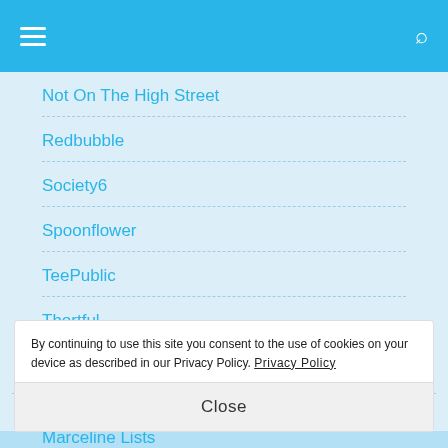≡   [search icon]
Not On The High Street
Redbubble
Society6
Spoonflower
TeePublic
Thortful
Walls Need Love
Zazzle
ME ON THE WEB
By continuing to use this site you consent to the use of cookies on your device as described in our Privacy Policy. Privacy Policy
Close
Marceline Lists